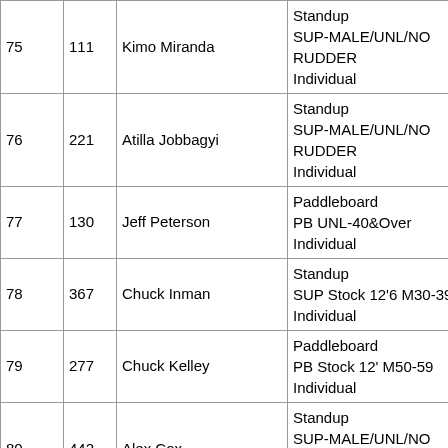| Rank | Bib | Name | Category | Num |
| --- | --- | --- | --- | --- |
| 75 | 111 | Kimo Miranda | Standup
SUP-MALE/UNL/NO RUDDER
Individual | 2 |
| 76 | 221 | Atilla Jobbagyi | Standup
SUP-MALE/UNL/NO RUDDER
Individual | 2 |
| 77 | 130 | Jeff Peterson | Paddleboard
PB UNL-40&Over
Individual | 1 |
| 78 | 367 | Chuck Inman | Standup
SUP Stock 12'6 M30-39
Individual | 2 |
| 79 | 277 | Chuck Kelley | Paddleboard
PB Stock 12' M50-59
Individual | 1 |
| 80 | 442 | Alex Cox | Standup
SUP-MALE/UNL/NO RUDDER
Individual | 2 |
| 81 | 459 | Jon Pyzel | Paddleboard
PB Stock 12' M40-49
Individual | 1 |
| 82 | 109 | Sion Milosky | Standup
SUP-MALE/UNL/NO RUDDER | 2 |